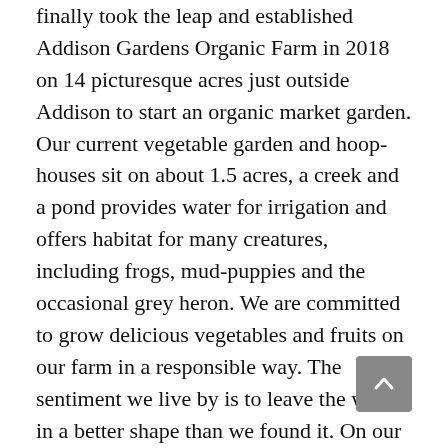finally took the leap and established Addison Gardens Organic Farm in 2018 on 14 picturesque acres just outside Addison to start an organic market garden. Our current vegetable garden and hoop-houses sit on about 1.5 acres, a creek and a pond provides water for irrigation and offers habitat for many creatures, including frogs, mud-puppies and the occasional grey heron. We are committed to grow delicious vegetables and fruits on our farm in a responsible way. The sentiment we live by is to leave the world in a better shape than we found it. On our farm, we realize this by practicing land stewardship, sustainable and organic farming methods. As we constantly learn about modern farming best practices our land will keep evolving, our products and the land will keep